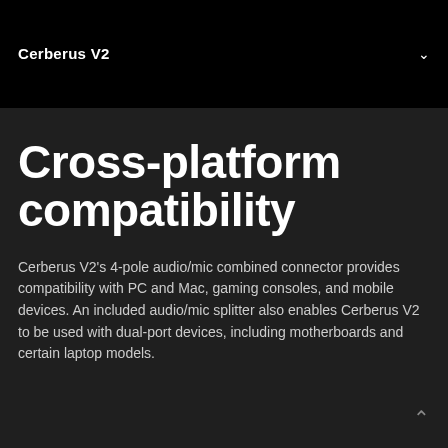Cerberus V2
Cross-platform compatibility
Cerberus V2's 4-pole audio/mic combined connector provides compatibility with PC and Mac, gaming consoles, and mobile devices. An included audio/mic splitter also enables Cerberus V2 to be used with dual-port devices, including motherboards and certain laptop models.